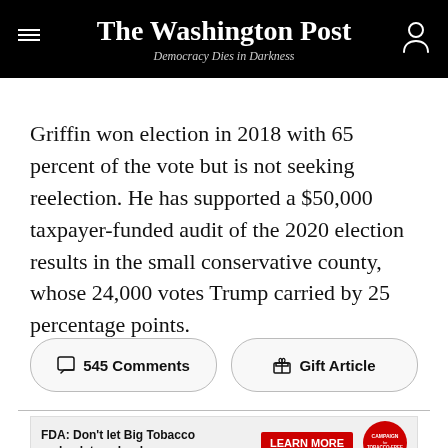The Washington Post — Democracy Dies in Darkness
Griffin won election in 2018 with 65 percent of the vote but is not seeking reelection. He has supported a $50,000 taxpayer-funded audit of the 2020 election results in the small conservative county, whose 24,000 votes Trump carried by 25 percentage points.
545 Comments
Gift Article
FDA: Don't let Big Tobacco go back to school. LEARN MORE